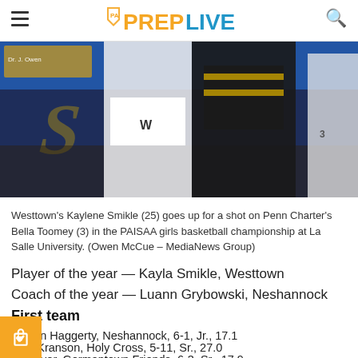PA PREPLIVE
[Figure (photo): Basketball players during PAISAA girls basketball championship at La Salle University. Westtown player in white and Penn Charter player in dark uniform.]
Westtown's Kaylene Smikle (25) goes up for a shot on Penn Charter's Bella Toomey (3) in the PAISAA girls basketball championship at La Salle University. (Owen McCue – MediaNews Group)
Player of the year — Kayla Smikle, Westtown
Coach of the year — Luann Grybowski, Neshannock
First team
Mairan Haggerty, Neshannock, 6-1, Jr., 17.1
Kaci Kranson, Holy Cross, 5-11, Sr., 27.0
re Meyer, Germantown Friends, 6-3, Sr., 17.9